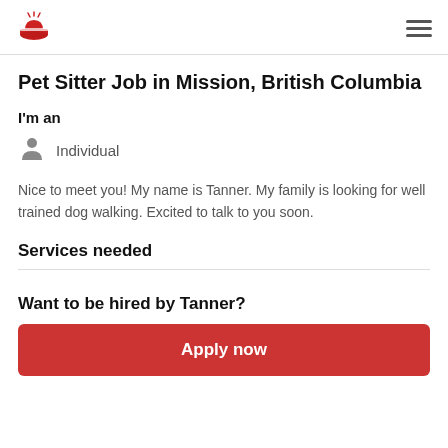[Logo] [Hamburger menu]
Pet Sitter Job in Mission, British Columbia
I'm an
Individual
Nice to meet you! My name is Tanner. My family is looking for well trained dog walking. Excited to talk to you soon.
Services needed
Want to be hired by Tanner?
Apply now